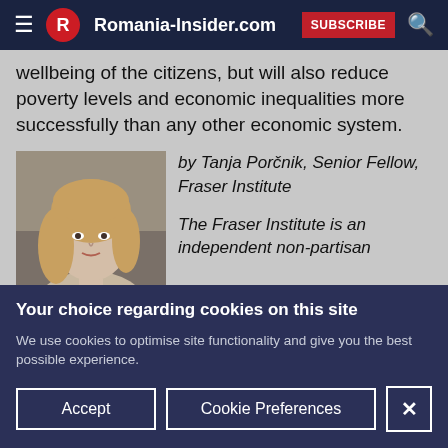Romania-Insider.com — SUBSCRIBE
wellbeing of the citizens, but will also reduce poverty levels and economic inequalities more successfully than any other economic system.
[Figure (photo): Portrait photo of Tanja Porčnik, a woman with long blonde hair]
by Tanja Porčnik, Senior Fellow, Fraser Institute
The Fraser Institute is an independent non-partisan
Your choice regarding cookies on this site
We use cookies to optimise site functionality and give you the best possible experience.
Accept
Cookie Preferences